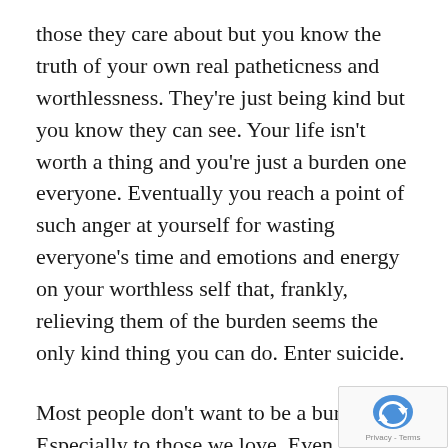those they care about but you know the truth of your own real patheticness and worthlessness. They're just being kind but you know they can see. Your life isn't worth a thing and you're just a burden one everyone. Eventually you reach a point of such anger at yourself for wasting everyone's time and emotions and energy on your worthless self that, frankly, relieving them of the burden seems the only kind thing you can do. Enter suicide.
Most people don't want to be a burden. Especially to those we love. Even if we don't really believe they can truly love us or understand why. We don't want that delusion to be a burden so it's our fault for deceiving them or sucking up all that energy and if we die, be better off. Oh it may hurt in the short run, but eventually realize we were holding them down and be so